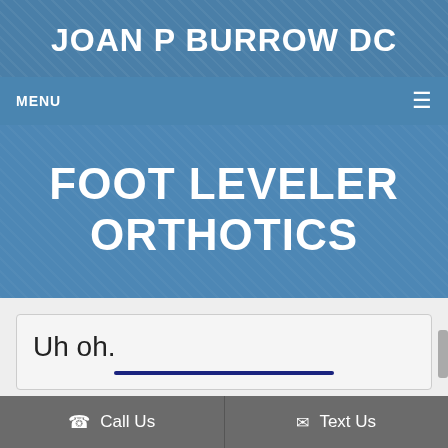JOAN P BURROW DC
MENU
FOOT LEVELER ORTHOTICS
Uh oh.
Call Us   Text Us